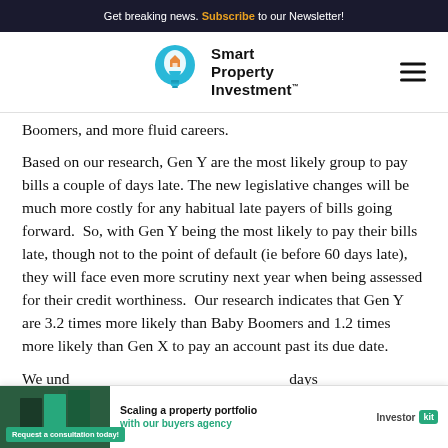Get breaking news. Subscribe to our Newsletter!
[Figure (logo): Smart Property Investment logo with light bulb icon and hamburger menu]
Boomers, and more fluid careers.
Based on our research, Gen Y are the most likely group to pay bills a couple of days late. The new legislative changes will be much more costly for any habitual late payers of bills going forward.  So, with Gen Y being the most likely to pay their bills late, though not to the point of default (ie before 60 days late), they will face even more scrutiny next year when being assessed for their credit worthiness.  Our research indicates that Gen Y are 3.2 times more likely than Baby Boomers and 1.2 times more likely than Gen X to pay an account past its due date.
We und... days will be m... nders
[Figure (infographic): Advertisement banner: Scaling a property portfolio with our buyers agency - Investor Kit]